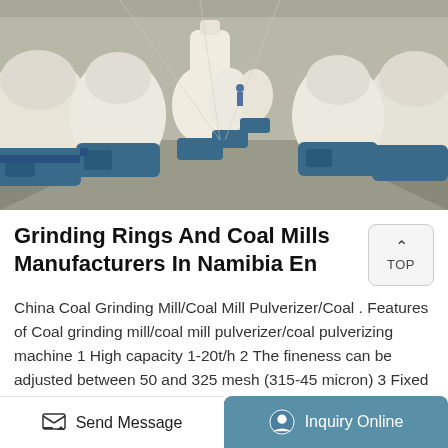[Figure (photo): Factory floor showing rows of large industrial cone crusher/grinding mill machines in white and blue, viewed from a corridor perspective in a manufacturing facility]
Grinding Rings And Coal Mills Manufacturers In Namibia En
China Coal Grinding Mill/Coal Mill Pulverizer/Coal . Features of Coal grinding mill/coal mill pulverizer/coal pulverizing machine 1 High capacity 1-20t/h 2 The fineness can be adjusted between 50 and 325 mesh (315-45 micron) 3 Fixed with 1000-1500kg pressure springs and its capacity